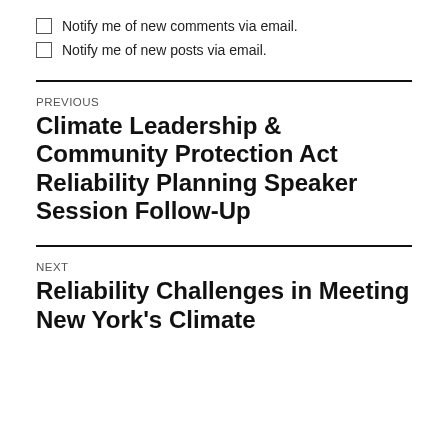Notify me of new comments via email.
Notify me of new posts via email.
PREVIOUS
Climate Leadership & Community Protection Act Reliability Planning Speaker Session Follow-Up
NEXT
Reliability Challenges in Meeting New York's Climate